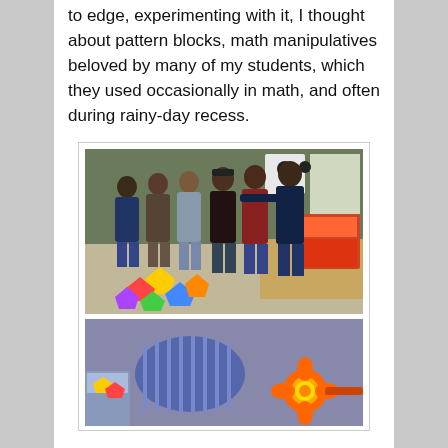to edge, experimenting with it, I thought about pattern blocks, math manipulatives beloved by many of my students, which they used occasionally in math, and often during rainy-day recess.
[Figure (photo): Group of boys (approximately 6-7 students) standing together in a classroom, with colorful pattern blocks scattered on the floor in front of them and a table with a box visible on the right.]
[Figure (photo): Close-up floor-level photo showing pattern blocks and toys/manipulatives on a classroom floor, with what appears to be a student's leg/shoe visible and an orange toy rattle-like object.]